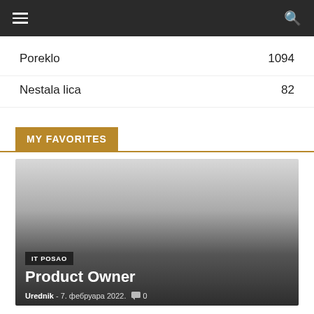Navigation bar with hamburger menu and search icon
Poreklo  1094
Nestala lica  82
MY FAVORITES
[Figure (photo): Article card image with gradient from light gray to dark, showing category tag 'IT POSAO', title 'Product Owner', and meta 'Urednik - 7. фебруара 2022. 0']